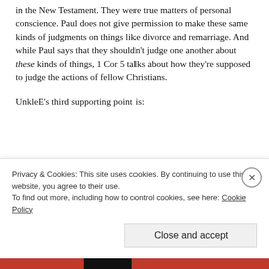in the New Testament. They were true matters of personal conscience. Paul does not give permission to make these same kinds of judgments on things like divorce and remarriage. And while Paul says that they shouldn't judge one another about these kinds of things, 1 Cor 5 talks about how they're supposed to judge the actions of fellow Christians.
UnkleE's third supporting point is:
Therefore, Paul's conclusion on even important matters of
Privacy & Cookies: This site uses cookies. By continuing to use this website, you agree to their use. To find out more, including how to control cookies, see here: Cookie Policy